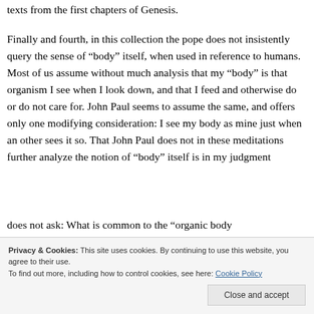texts from the first chapters of Genesis.
Finally and fourth, in this collection the pope does not insistently query the sense of “body” itself, when used in reference to humans. Most of us assume without much analysis that my “body” is that organism I see when I look down, and that I feed and otherwise do or do not care for. John Paul seems to assume the same, and offers only one modifying consideration: I see my body as mine just when an other sees it so. That John Paul does not in these meditations further analyze the notion of “body” itself is in my judgment
does not ask: What is common to the “organic body
Privacy & Cookies: This site uses cookies. By continuing to use this website, you agree to their use.
To find out more, including how to control cookies, see here: Cookie Policy